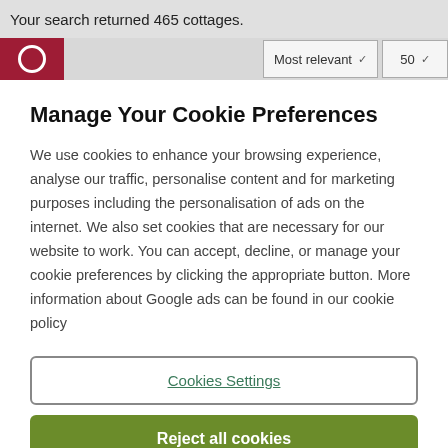Your search returned 465 cottages.
Manage Your Cookie Preferences
We use cookies to enhance your browsing experience, analyse our traffic, personalise content and for marketing purposes including the personalisation of ads on the internet. We also set cookies that are necessary for our website to work. You can accept, decline, or manage your cookie preferences by clicking the appropriate button. More information about Google ads can be found in our cookie policy
Cookies Settings
Reject all cookies
Accept all cookies